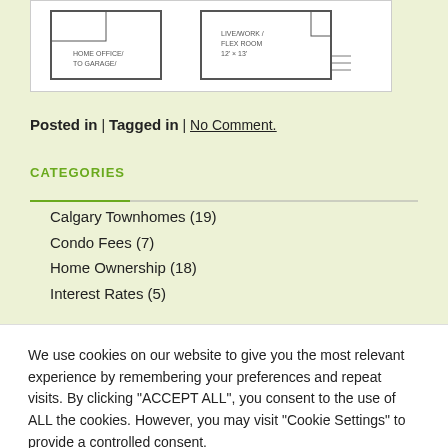[Figure (engineering-diagram): Floor plan schematic showing two room layouts side by side]
Posted in | Tagged in | No Comment.
CATEGORIES
Calgary Townhomes (19)
Condo Fees (7)
Home Ownership (18)
Interest Rates (5)
We use cookies on our website to give you the most relevant experience by remembering your preferences and repeat visits. By clicking "ACCEPT ALL", you consent to the use of ALL the cookies. However, you may visit "Cookie Settings" to provide a controlled consent.